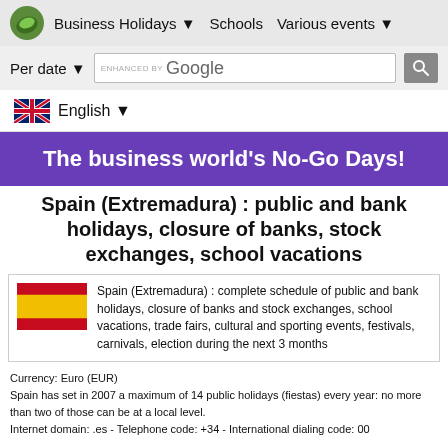Business Holidays  Schools  Various events
Per date  ENHANCED BY Google [search]
English
The business world's No-Go Days!
Spain (Extremadura) : public and bank holidays, closure of banks, stock exchanges, school vacations
Spain (Extremadura) : complete schedule of public and bank holidays, closure of banks and stock exchanges, school vacations, trade fairs, cultural and sporting events, festivals, carnivals, election during the next 3 months
Currency: Euro (EUR)
Spain has set in 2007 a maximum of 14 public holidays (fiestas) every year: no more than two of those can be at a local level.
Internet domain: .es - Telephone code: +34 - International dialing code: 00